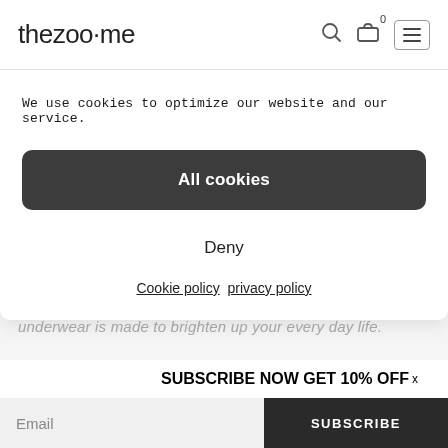thezoo·me
underwear is made to brighten up your every day life.
SUBSCRIBE NOW GET 10% OFF X
Email    SUBSCRIBE
We use cookies to optimize our website and our service.
All cookies
Deny
Cookie policy   privacy policy